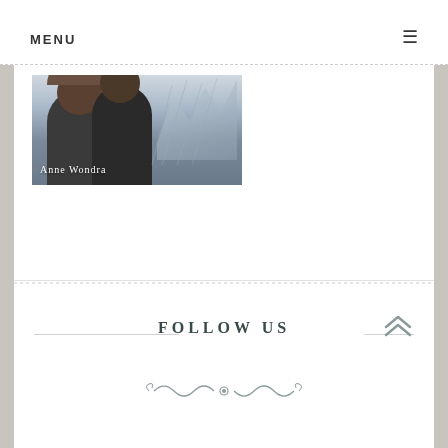MENU
[Figure (photo): Two women with curly hair viewed from behind, outdoors near a bridge structure. Text overlay reads 'Anne Wondra']
FOLLOW US